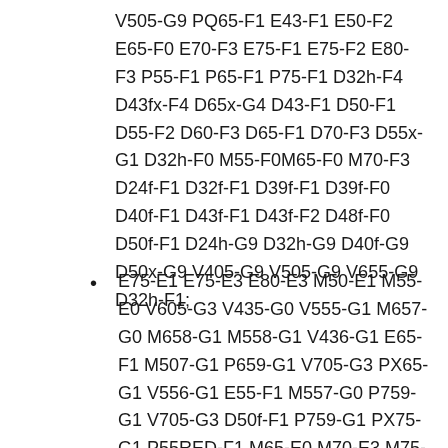V505-G9 PQ65-F1 E43-F1 E50-F2 E65-F0 E70-F3 E75-F1 E75-F2 E80-F3 P55-F1 P65-F1 P75-F1 D32h-F4 D43fx-F4 D65x-G4 D43-F1 D50-F1 D55-F2 D60-F3 D65-F1 D70-F3 D55x-G1 D32h-F0 M55-F0M65-F0 M70-F3 D24f-F1 D32f-F1 D39f-F1 D39f-F0 D40f-F1 D43f-F1 D43f-F2 D48f-F0 D50f-F1 D24h-G9 D32h-G9 D40f-G9 D50x-G9 V405-G9 V505-G9 V655-G9 D32h-F1;
E75-E1 E75-E3 E80-E3 M50-E1 M55-E0 V605-G3 V435-G0 V555-G1 M657-G0 M658-G1 M558-G1 V436-G1 E65-F1 M507-G1 P659-G1 V705-G3 PX65-G1 V556-G1 E55-F1 M557-G0 P759-G1 V705-G3 D50f-F1 P759-G1 PX75-G1 P55RED-F1 M65-E0 M70-E3 M75-E1